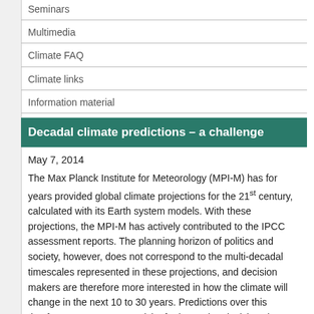Seminars
Multimedia
Climate FAQ
Climate links
Information material
Decadal climate predictions – a challenge
May 7, 2014
The Max Planck Institute for Meteorology (MPI-M) has for years provided global climate projections for the 21st century, calculated with its Earth system models. With these projections, the MPI-M has actively contributed to the IPCC assessment reports. The planning horizon of politics and society, however, does not correspond to the multi-decadal timescales represented in these projections, and decision makers are therefore more interested in how the climate will change in the next 10 to 30 years. Predictions over this timeframe are one prerequisite for improving decisions by industry and society on how to adapt to future climate change.